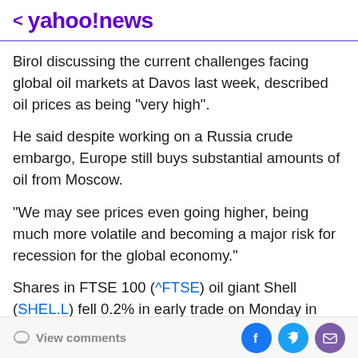< yahoo!news
Birol discussing the current challenges facing global oil markets at Davos last week, described oil prices as being "very high".
He said despite working on a Russia crude embargo, Europe still buys substantial amounts of oil from Moscow.
"We may see prices even going higher, being much more volatile and becoming a major risk for recession for the global economy."
Shares in FTSE 100 (^FTSE) oil giant Shell (SHEL.L) fell 0.2% in early trade on Monday in London, while rival BP
View comments